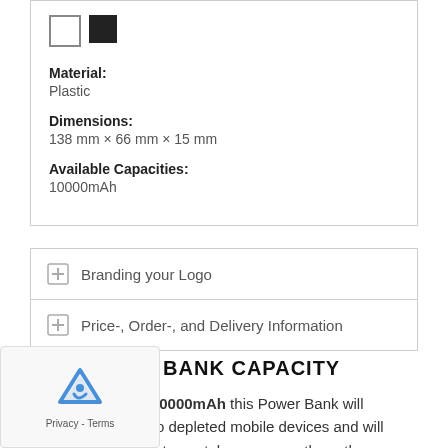[Figure (other): Two color swatches: white square with border and solid black square]
Material:
Plastic
Dimensions:
138 mm × 66 mm × 15 mm
Available Capacities:
10000mAh
+ Branding your Logo
+ Price-, Order-, and Delivery Information
POWER BANK CAPACITY
power capacity of 10000mAh this Power Bank will breathe new life into depleted mobile devices and will store charge to most smartphones currently on the market.